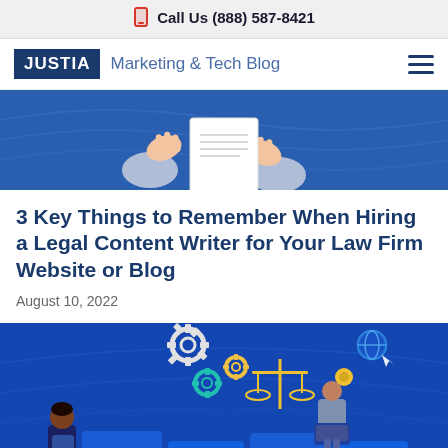Call Us (888) 587-8421
[Figure (logo): Justia Marketing & Tech Blog logo with hamburger menu]
[Figure (illustration): Illustration of hands exchanging a document over a blue background (partially visible, cropped top)]
3 Key Things to Remember When Hiring a Legal Content Writer for Your Law Firm Website or Blog
August 10, 2022
[Figure (illustration): Illustration showing domain extension blocks (.net, .info, .biz, .edu, .com, .int, .org, .gov) with people and icons (gear, scales of justice, globe) on a blue background]